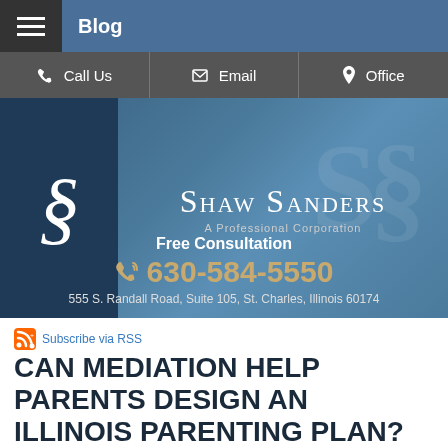Blog
Call Us | Email | Office
[Figure (logo): Shaw Sanders A Professional Corporation logo with stylized S lettermark on dark blue background]
Free Consultation
630-584-5550
555 S. Randall Road, Suite 105, St. Charles, Illinois 60174
Subscribe via RSS
CAN MEDIATION HELP PARENTS DESIGN AN ILLINOIS PARENTING PLAN?